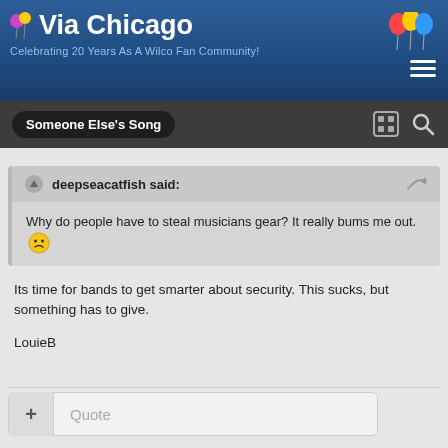Via Chicago — Celebrating 20 Years As A Wilco Fan Community!
Someone Else's Song
deepseacatfish said: Why do people have to steal musicians gear? It really bums me out.
Its time for bands to get smarter about security. This sucks, but something has to give.

LouieB